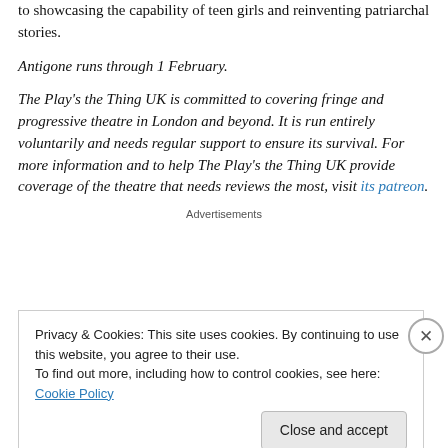to showcasing the capability of teen girls and reinventing patriarchal stories.
Antigone runs through 1 February.
The Play's the Thing UK is committed to covering fringe and progressive theatre in London and beyond. It is run entirely voluntarily and needs regular support to ensure its survival. For more information and to help The Play's the Thing UK provide coverage of the theatre that needs reviews the most, visit its patreon.
Advertisements
Privacy & Cookies: This site uses cookies. By continuing to use this website, you agree to their use.
To find out more, including how to control cookies, see here: Cookie Policy
Close and accept